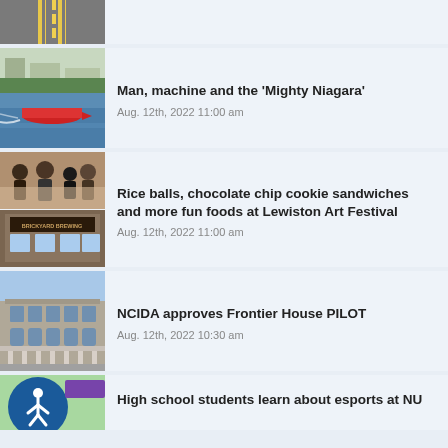[Figure (photo): Aerial photo of road with yellow lines, partially cropped]
[Figure (photo): Red speedboat racing on water near buildings]
Man, machine and the 'Mighty Niagara'
Aug. 12th, 2022 11:00 am
[Figure (photo): Collage: people at festival and Brickyard Brewing building exterior]
Rice balls, chocolate chip cookie sandwiches and more fun foods at Lewiston Art Festival
Aug. 12th, 2022 11:00 am
[Figure (photo): Stone historic building - Frontier House exterior]
NCIDA approves Frontier House PILOT
Aug. 12th, 2022 10:30 am
[Figure (photo): Accessibility icon circle badge and green background with purple element]
High school students learn about esports at NU